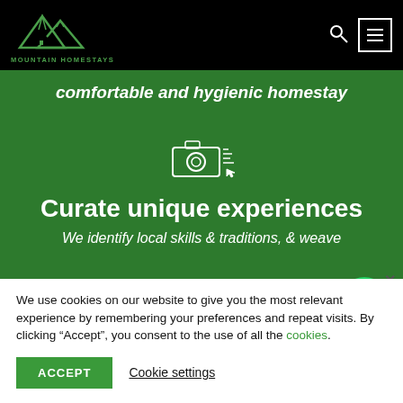MOUNTAIN HOMESTAYS
comfortable and hygienic homestay
[Figure (illustration): Camera/photography icon in white outline style on green background]
Curate unique experiences
We identify local skills & traditions, & weave
We use cookies on our website to give you the most relevant experience by remembering your preferences and repeat visits. By clicking “Accept”, you consent to the use of all the cookies.
[Figure (logo): WhatsApp icon green circle button]
ACCEPT
Cookie settings